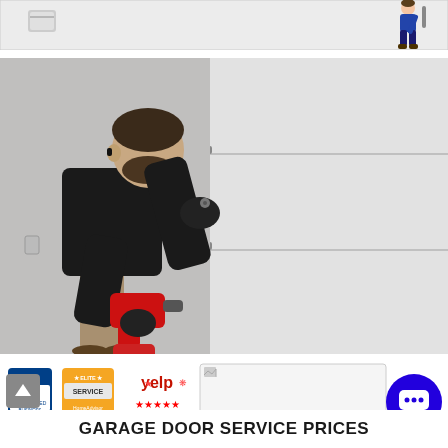[Figure (screenshot): Top strip showing a partial website header with a small icon/logo on the left and a cartoon worker illustration on the right]
[Figure (photo): Photograph of a technician in a black long-sleeve shirt and black gloves using a red power drill to work on the metal hardware of a white garage door panel]
[Figure (infographic): Row of trust/review badges: BBB A+ rating badge, Elite Service badge from HomeAdvisor, Yelp five-star rating badge, and a partially loaded image box on the right. A blue circular chat button is on the far right.]
GARAGE DOOR SERVICE PRICES